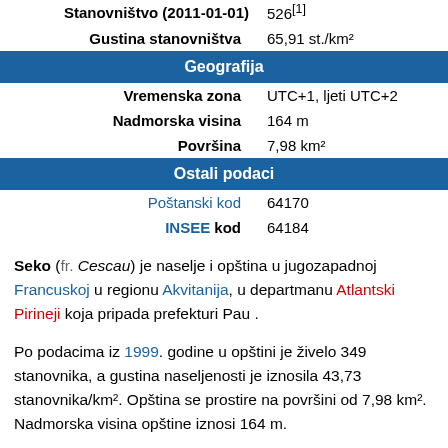| Stanovništvo (2011-01-01) | 526[1] |
| Gustina stanovništva | 65,91 st./km² |
| Geografija |  |
| Vremenska zona | UTC+1, ljeti UTC+2 |
| Nadmorska visina | 164 m |
| Površina | 7,98 km² |
| Ostali podaci |  |
| Poštanski kod | 64170 |
| INSEE kod | 64184 |
Seko (fr. Cescau) je naselje i opština u jugozapadnoj Francuskoj u regionu Akvitanija, u departmanu Atlantski Pirineji koja pripada prefekturi Pau .
Po podacima iz 1999. godine u opštini je živelo 349 stanovnika, a gustina naseljenosti je iznosila 43,73 stanovnika/km². Opština se prostire na površini od 7,98 km². Nadmorska visina opštine iznosi 164 m.